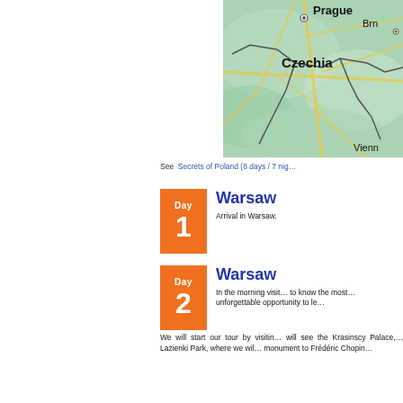[Figure (map): Map showing Czechia region with Prague, Brno, Vienna labeled and road network visible]
See  Secrets of Poland (8 days / 7 nig…
Day 1 – Warsaw: Arrival in Warsaw.
Day 2 – Warsaw: In the morning visit… to know the most… unforgettable opportunity to le… We will start our tour by visitin… will see the Krasinscy Palace,… Lazienki Park, where we wil… monument to Frédéric Chopin